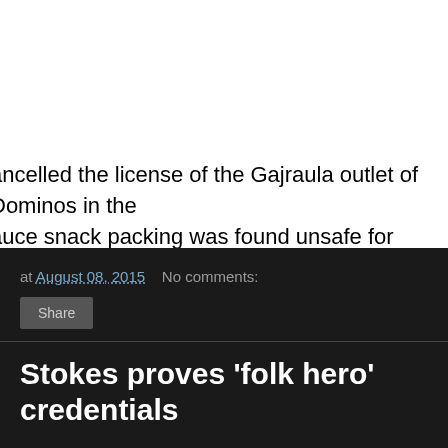ancelled the license of the Gajraula outlet of Dominos in the auce snack packing was found unsafe for consumption after tests in
at August 08, 2015    No comments:
Share
Stokes proves 'folk hero' credentials
In the absence of James Anderson and with the attack being blunted it was England's allrounder who brought the urn within reach
04:00